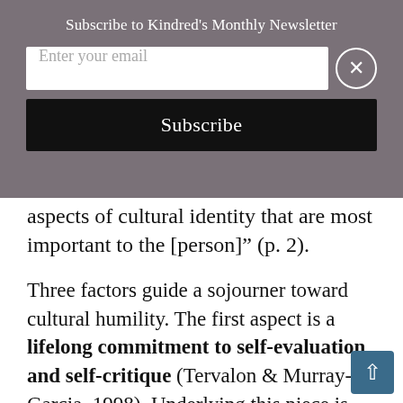[Figure (screenshot): Newsletter subscription modal overlay with gray background. Contains title 'Subscribe to Kindred's Monthly Newsletter', an email input field, a close button (X), and a black Subscribe button.]
aspects of cultural identity that are most important to the [person]” (p. 2).
Three factors guide a sojourner toward cultural humility. The first aspect is a lifelong commitment to self-evaluation and self-critique (Tervalon & Murray-Garcia, 1998). Underlying this piece is the knowledge that we are never finished — we never arrive at a point where we are done learning. Therefore, we must be humble and flexible, bold enough to look at ourselves critically and desire to learn more. When we do not know something, are